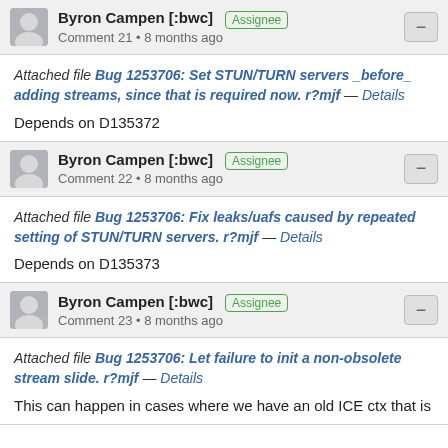Byron Campen [:bwc] Assignee Comment 21 • 8 months ago
Attached file Bug 1253706: Set STUN/TURN servers _before_ adding streams, since that is required now. r?mjf — Details
Depends on D135372
Byron Campen [:bwc] Assignee Comment 22 • 8 months ago
Attached file Bug 1253706: Fix leaks/uafs caused by repeated setting of STUN/TURN servers. r?mjf — Details
Depends on D135373
Byron Campen [:bwc] Assignee Comment 23 • 8 months ago
Attached file Bug 1253706: Let failure to init a non-obsolete stream slide. r?mjf — Details
This can happen in cases where we have an old ICE ctx that is